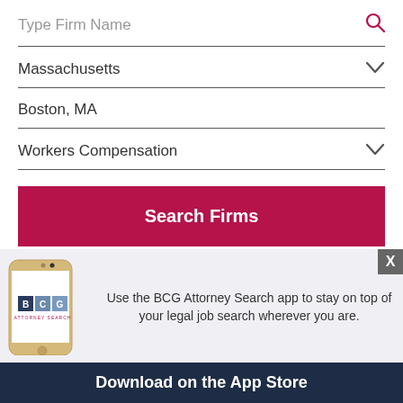Type Firm Name
Massachusetts
Boston, MA
Workers Compensation
Search Firms
Use the BCG Attorney Search app to stay on top of your legal job search wherever you are.
Download on the App Store